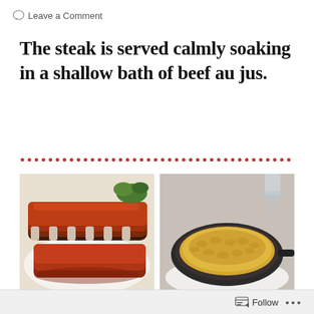Leave a Comment
The steak is served calmly soaking in a shallow bath of beef au jus.
[Figure (other): Dotted red divider rule]
[Figure (photo): BBQ ribs on a white plate]
[Figure (photo): Mac and cheese in a cast iron skillet on a white plate with a wine glass in background]
[Figure (photo): Sliced meat dish with sauce]
[Figure (photo): Fried food items (croquettes) on a plate with greens]
Follow ...